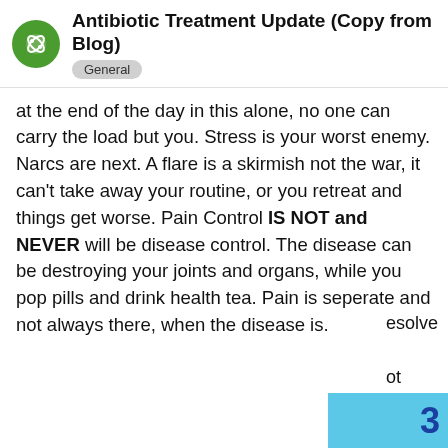Antibiotic Treatment Update (Copy from Blog) — General
at the end of the day in this alone, no one can carry the load but you. Stress is your worst enemy. Narcs are next. A flare is a skirmish not the war, it can't take away your routine, or you retreat and things get worse. Pain Control IS NOT and NEVER will be disease control. The disease can be destroying your joints and organs, while you pop pills and drink health tea. Pain is seperate and not always there, when the disease is.
esolve
ot
[Figure (screenshot): Cookie consent overlay with yellow 'Got it!' button and 'Learn more' link on dark background]
3